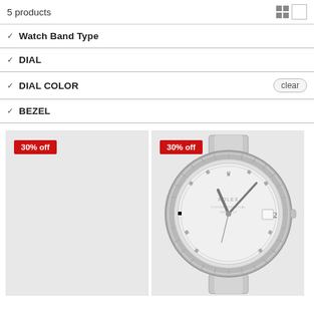5 products
Watch Band Type
DIAL
DIAL COLOR
BEZEL
[Figure (other): Product card placeholder (gray rectangle) with 30% off badge]
[Figure (photo): Rolex watch with silver dial and diamond markers, fluted bezel, Oyster bracelet, with 30% off badge]